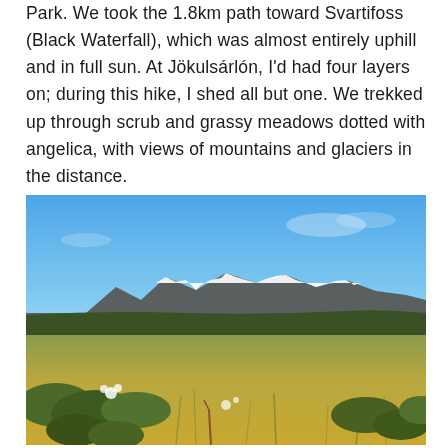Park. We took the 1.8km path toward Svartifoss (Black Waterfall), which was almost entirely uphill and in full sun. At Jökulsárlón, I'd had four layers on; during this hike, I shed all but one. We trekked up through scrub and grassy meadows dotted with angelica, with views of mountains and glaciers in the distance.
[Figure (photo): Outdoor landscape photo showing a grassy meadow with scrub vegetation and wildflowers in the foreground, a dark green hillside in the middle distance, snow-capped mountains on the horizon, and a clear blue sky above.]